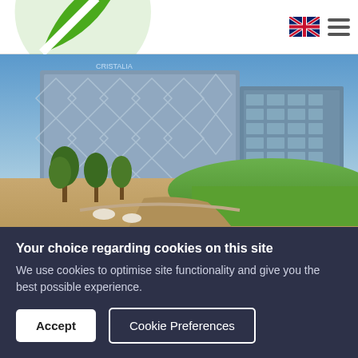Greenbuildinginfo.eu — The smart way to find a green office.
[Figure (photo): Exterior photo of 4B Cristalia office buildings in Madrid Hortaleza, showing modern glass facade buildings with trees and green lawn in foreground under blue sky.]
4B Cristalia
Madrid, Hortaleza
Your choice regarding cookies on this site
We use cookies to optimise site functionality and give you the best possible experience.
Accept | Cookie Preferences